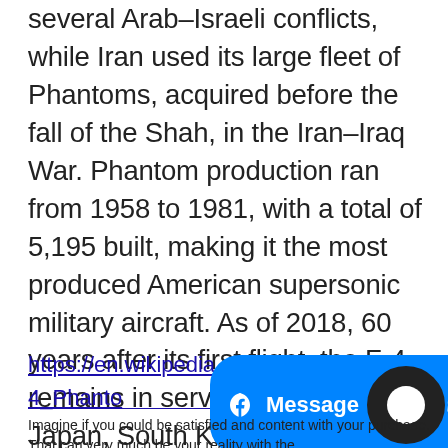several Arab–Israeli conflicts, while Iran used its large fleet of Phantoms, acquired before the fall of the Shah, in the Iran–Iraq War. Phantom production ran from 1958 to 1981, with a total of 5,195 built, making it the most produced American supersonic military aircraft. As of 2018, 60 years after its first flight, the F-4 remains in service with Iran, Japan, South Korea, Greece, and Turkey. The aircraft has most recently been in service against the Islamic State group in the Middle East.
https://en.wikipedia.org/wiki/McDonnell_Douglas_F-4_Phantom_II
Imagine if you could be satisfied and content with your purchase. That can very much be your reality with the